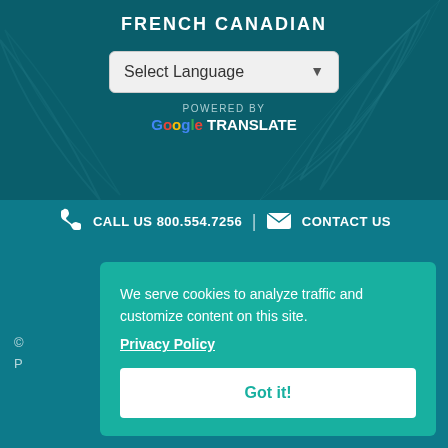FRENCH CANADIAN
Select Language
POWERED BY
Google TRANSLATE
CALL US 800.554.7256 | CONTACT US
We serve cookies to analyze traffic and customize content on this site.
Privacy Policy
Got it!